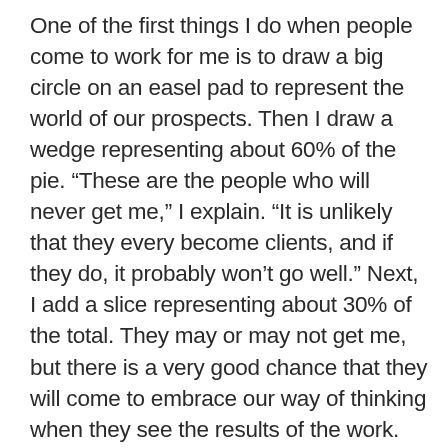One of the first things I do when people come to work for me is to draw a big circle on an easel pad to represent the world of our prospects. Then I draw a wedge representing about 60% of the pie. “These are the people who will never get me,” I explain. “It is unlikely that they every become clients, and if they do, it probably won’t go well.” Next, I add a slice representing about 30% of the total. They may or may not get me, but there is a very good chance that they will come to embrace our way of thinking when they see the results of the work. Finally, there’s a 10% sliver of those who “really get Jeff.”